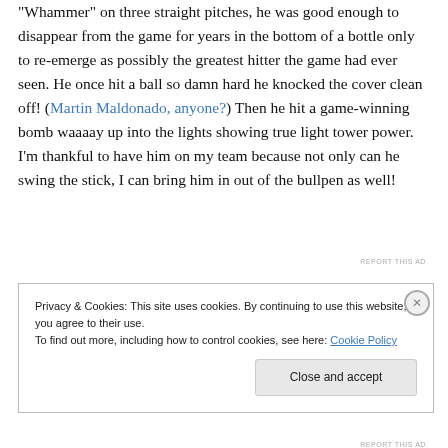"Whammer" on three straight pitches, he was good enough to disappear from the game for years in the bottom of a bottle only to re-emerge as possibly the greatest hitter the game had ever seen. He once hit a ball so damn hard he knocked the cover clean off! (Martin Maldonado, anyone?) Then he hit a game-winning bomb waaaay up into the lights showing true light tower power. I'm thankful to have him on my team because not only can he swing the stick, I can bring him in out of the bullpen as well!
Privacy & Cookies: This site uses cookies. By continuing to use this website, you agree to their use. To find out more, including how to control cookies, see here: Cookie Policy